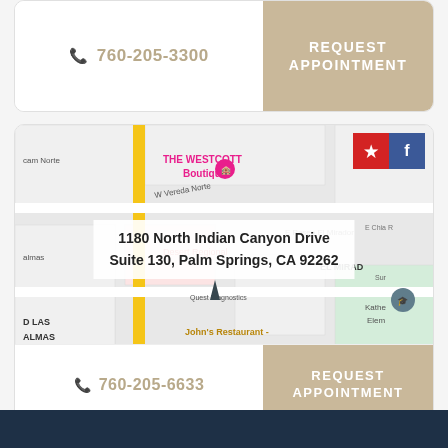📞 760-205-3300  REQUEST APPOINTMENT
[Figure (map): Google Maps showing location near 1180 North Indian Canyon Drive, Palm Springs, CA. Shows streets including W Vereda Norte, E Paseo El Mirador, The Westcott Boutique, Desert Regional, Quest Diagnostics, John's Restaurant. Social media icons (Yelp, Facebook) visible in top right corner.]
1180 North Indian Canyon Drive
Suite 130, Palm Springs, CA 92262
📞 760-205-6633  REQUEST APPOINTMENT